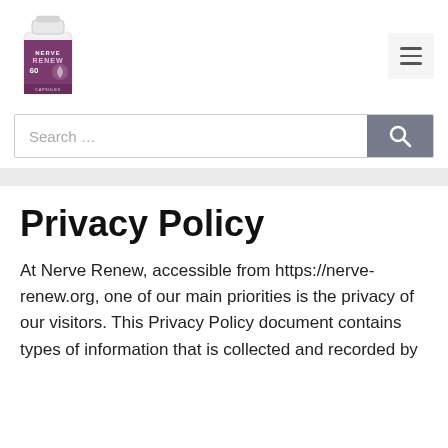[Figure (photo): Nerve Renew supplement bottle with purple label showing 60 capsules]
[Figure (other): Hamburger menu button (three horizontal lines) in a light gray rounded square]
Search …
Privacy Policy
At Nerve Renew, accessible from https://nerve-renew.org, one of our main priorities is the privacy of our visitors. This Privacy Policy document contains types of information that is collected and recorded by